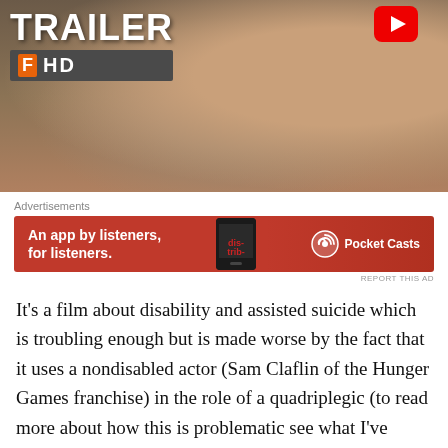[Figure (screenshot): Movie trailer thumbnail showing 'TRAILER HD' text overlay with YouTube icon and Fandango logo on a dark banner, with a person visible in the background]
[Figure (screenshot): Advertisement banner for Pocket Casts app: 'An app by listeners, for listeners.' with phone graphic and Pocket Casts logo on red background]
REPORT THIS AD
It's a film about disability and assisted suicide which is troubling enough but is made worse by the fact that it uses a nondisabled actor (Sam Claflin of the Hunger Games franchise) in the role of a quadriplegic (to read more about how this is problematic see what I've written about cripping up here, here, and here). Now I'm sure this casting decision was made because after an exhaustive casting search, the producers could